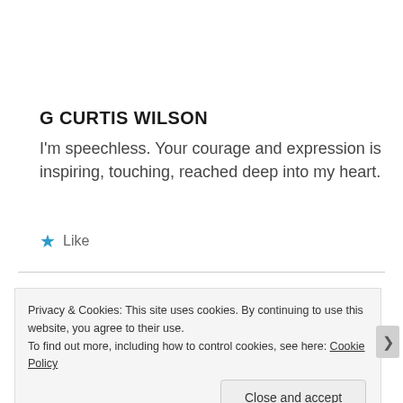G CURTIS WILSON
I'm speechless. Your courage and expression is inspiring, touching, reached deep into my heart.
★ Like
Privacy & Cookies: This site uses cookies. By continuing to use this website, you agree to their use.
To find out more, including how to control cookies, see here: Cookie Policy
Close and accept